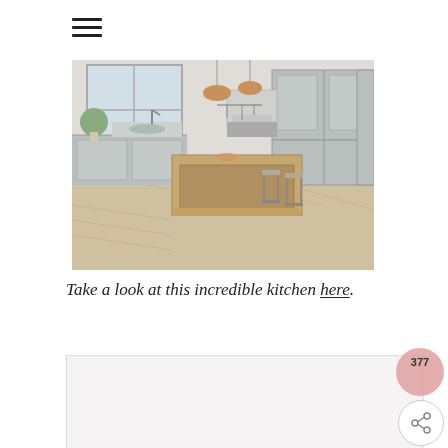[Figure (other): Hamburger menu icon with three horizontal lines]
[Figure (photo): Elegant kitchen with grey painted cabinets, wooden island with bar stools, copper pendant lights, herringbone parquet flooring, and large windows]
Take a look at this incredible kitchen here.
[Figure (other): Light grey rectangular content placeholder box at bottom of page]
[Figure (other): Pink circular share button showing '377' and a share icon below]